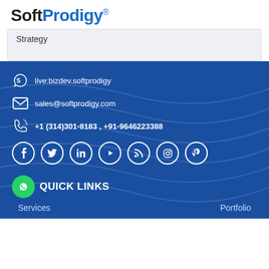SoftProdigy®
Strategy
live:bizdev.softprodigy
sales@softprodigy.com
+1 (314)301-8183 , +91-9646223388
[Figure (illustration): Social media icons row: Facebook, Twitter, LinkedIn, YouTube, RSS, Instagram, Pinterest — white circle outlines on dark blue background]
QUICK LINKS
Services
Portfolio